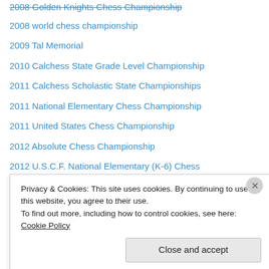2008 Golden Knights Chess Championship
2008 world chess championship
2009 Tal Memorial
2010 Calchess State Grade Level Championship
2011 Calchess Scholastic State Championships
2011 National Elementary Chess Championship
2011 United States Chess Championship
2012 Absolute Chess Championship
2012 U.S.C.F. National Elementary (K-6) Chess Championship
2012 World Chess Championship
2013 World Chess Championship
2014 Calchess Scholastic State Championship
2014 National Elementary Chess Championship
2014 World Chess Championship
Privacy & Cookies: This site uses cookies. By continuing to use this website, you agree to their use. To find out more, including how to control cookies, see here: Cookie Policy
Close and accept